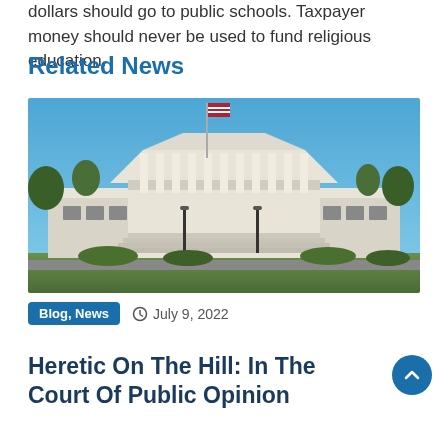dollars should go to public schools. Taxpayer money should never be used to fund religious education.
Related News
[Figure (photo): Exterior photograph of the United States Supreme Court building in Washington D.C., with its iconic white marble columns under a clear blue sky, with trees and landscaping in the foreground.]
Blog, News   July 9, 2022
Heretic On The Hill: In The Court Of Public Opinion